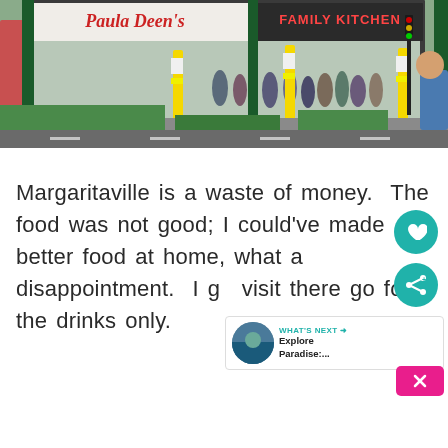[Figure (photo): Exterior photo of Paula Deen's Family Kitchen restaurant with yellow bollards in front, people queuing outside, green structural columns, and a pink building visible in the background.]
Margaritaville is a waste of money.  The food was not good; I could've made better food at home, what a disappointment.  I g[o] visit there go for the drinks only.